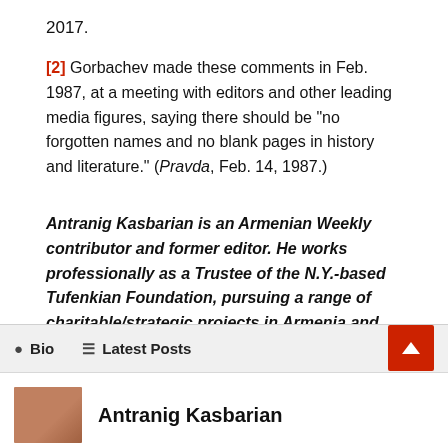2017.
[2] Gorbachev made these comments in Feb. 1987, at a meeting with editors and other leading media figures, saying there should be "no forgotten names and no blank pages in history and literature." (Pravda, Feb. 14, 1987.)
Antranig Kasbarian is an Armenian Weekly contributor and former editor. He works professionally as a Trustee of the N.Y.-based Tufenkian Foundation, pursuing a range of charitable/strategic projects in Armenia and Artsakh. In the Eastern U.S., he currently serves as a member of the Armenian Revolutionary Federation (ARF) Central Committee.
Bio  Latest Posts
Antranig Kasbarian